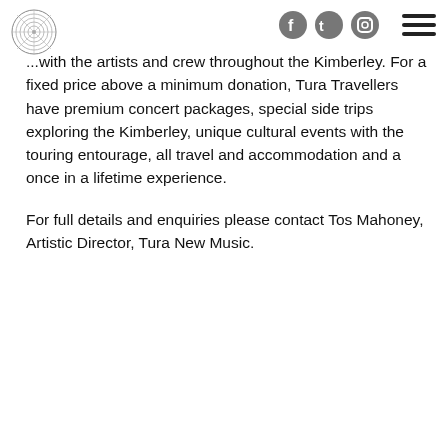Tura New Music header with social icons and navigation
...with the artists and crew throughout the Kimberley. For a fixed price above a minimum donation, Tura Travellers have premium concert packages, special side trips exploring the Kimberley, unique cultural events with the touring entourage, all travel and accommodation and a once in a lifetime experience.
For full details and enquiries please contact Tos Mahoney, Artistic Director, Tura New Music.